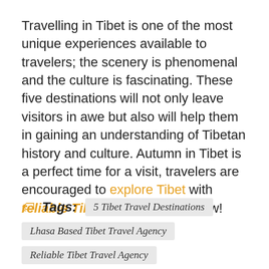Travelling in Tibet is one of the most unique experiences available to travelers; the scenery is phenomenal and the culture is fascinating. These five destinations will not only leave visitors in awe but also will help them in gaining an understanding of Tibetan history and culture. Autumn in Tibet is a perfect time for a visit, travelers are encouraged to explore Tibet with reliable Tibet travel agency now!
Tags: 5 Tibet Travel Destinations
Lhasa Based Tibet Travel Agency
Reliable Tibet Travel Agency